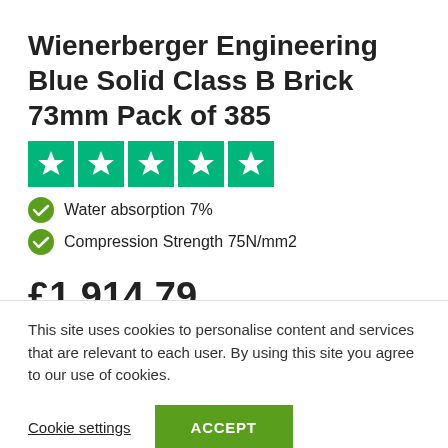Wienerberger Engineering Blue Solid Class B Brick 73mm Pack of 385
[Figure (other): Five green Trustpilot-style star rating icons in a row]
Water absorption 7%
Compression Strength 75N/mm2
£1,914.79
This site uses cookies to personalise content and services that are relevant to each user. By using this site you agree to our use of cookies.
Cookie settings  ACCEPT